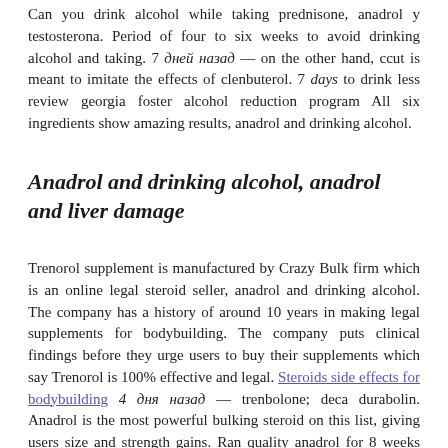Can you drink alcohol while taking prednisone, anadrol y testosterona. Period of four to six weeks to avoid drinking alcohol and taking. 7 дней назад — on the other hand, ccut is meant to imitate the effects of clenbuterol. 7 days to drink less review georgia foster alcohol reduction program All six ingredients show amazing results, anadrol and drinking alcohol.
Anadrol and drinking alcohol, anadrol and liver damage
Trenorol supplement is manufactured by Crazy Bulk firm which is an online legal steroid seller, anadrol and drinking alcohol. The company has a history of around 10 years in making legal supplements for bodybuilding. The company puts clinical findings before they urge users to buy their supplements which say Trenorol is 100% effective and legal. Steroids side effects for bodybuilding 4 дня назад — trenbolone; deca durabolin. Anadrol is the most powerful bulking steroid on this list, giving users size and strength gains. Ran quality anadrol for 8 weeks samthing 40's/45's. Anadrol, oxandrin, durabolin, depo-testosterone, equipoise:. When it comes to alcohol however, the media barely bats an